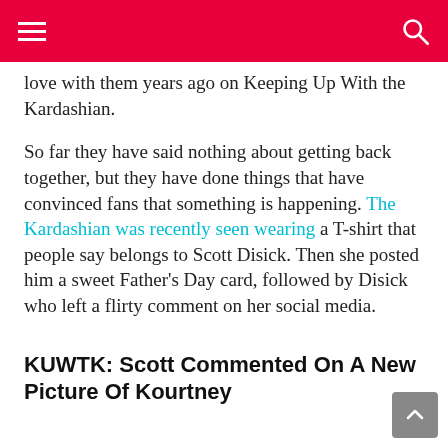love with them years ago on Keeping Up With the Kardashian.
So far they have said nothing about getting back together, but they have done things that have convinced fans that something is happening. The Kardashian was recently seen wearing a T-shirt that people say belongs to Scott Disick. Then she posted him a sweet Father's Day card, followed by Disick who left a flirty comment on her social media.
KUWTK: Scott Commented On A New Picture Of Kourtney